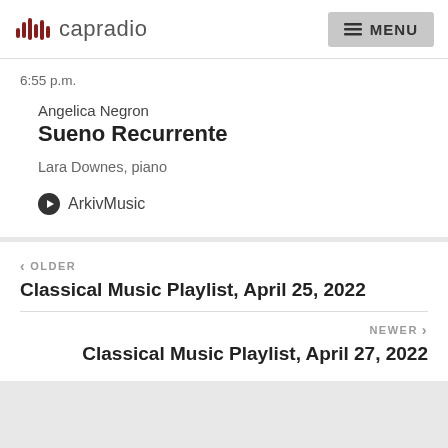capradio  MENU
6:55 p.m.
Angelica Negron
Sueno Recurrente
Lara Downes, piano
ArkivMusic
< OLDER
Classical Music Playlist, April 25, 2022
NEWER >
Classical Music Playlist, April 27, 2022